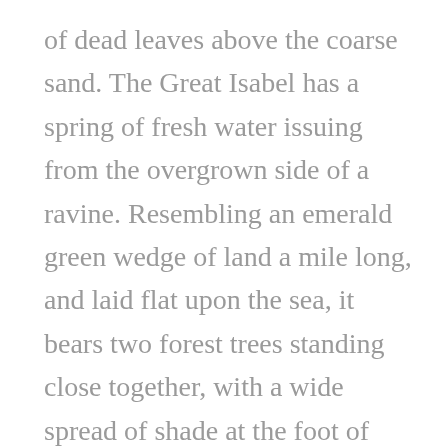of dead leaves above the coarse sand. The Great Isabel has a spring of fresh water issuing from the overgrown side of a ravine. Resembling an emerald green wedge of land a mile long, and laid flat upon the sea, it bears two forest trees standing close together, with a wide spread of shade at the foot of their smooth trunks. A ravine extending the whole length of the island is full of bushes; and presenting a deep tangled cleft on the high side spreads itself out on the other into a shallow depression abutting on a small strip of sandy shore.